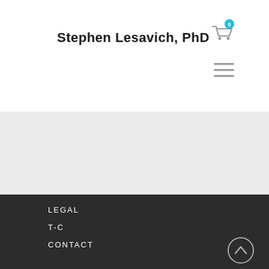Stephen Lesavich, PhD
[Figure (illustration): Shopping cart icon with teal badge showing '0']
[Figure (illustration): Hamburger menu icon (three horizontal lines)]
[Figure (illustration): Light gray hero/banner area]
LEGAL
T-C
CONTACT
[Figure (illustration): Scroll-to-top circular arrow button]